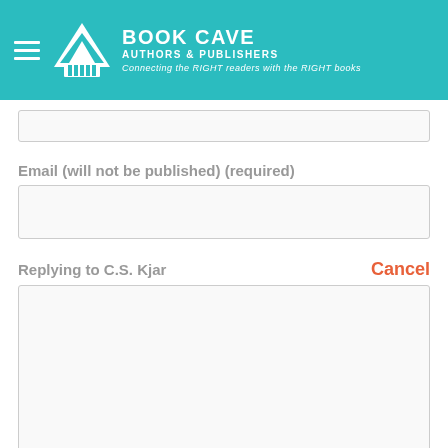BOOK CAVE AUTHORS & PUBLISHERS Connecting the RIGHT readers with the RIGHT books
Email (will not be published) (required)
Replying to C.S. Kjar
Cancel
SUBMIT COMMENT